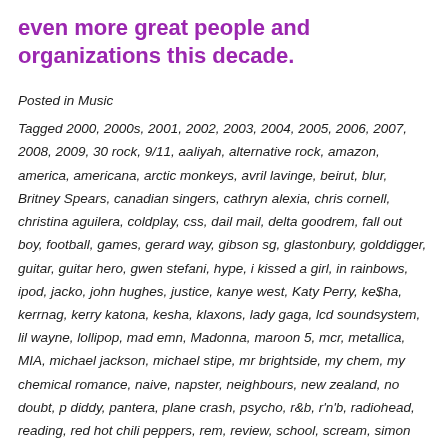even more great people and organizations this decade.
Posted in Music
Tagged 2000, 2000s, 2001, 2002, 2003, 2004, 2005, 2006, 2007, 2008, 2009, 30 rock, 9/11, aaliyah, alternative rock, amazon, america, americana, arctic monkeys, avril lavinge, beirut, blur, Britney Spears, canadian singers, cathryn alexia, chris cornell, christina aguilera, coldplay, css, dail mail, delta goodrem, fall out boy, football, games, gerard way, gibson sg, glastonbury, golddigger, guitar, guitar hero, gwen stefani, hype, i kissed a girl, in rainbows, ipod, jacko, john hughes, justice, kanye west, Katy Perry, ke$ha, kerrnag, kerry katona, kesha, klaxons, lady gaga, lcd soundsystem, lil wayne, lollipop, mad emn, Madonna, maroon 5, mcr, metallica, MIA, michael jackson, michael stipe, mr brightside, my chem, my chemical romance, naive, napster, neighbours, new zealand, no doubt, p diddy, pantera, plane crash, psycho, r&b, r'n'b, radiohead, reading, red hot chili peppers, rem, review, school, scream, simon and garfunkel, sixteen candles, sk8er boi, static major, thank you, the killers, the kooks, the view, u2,